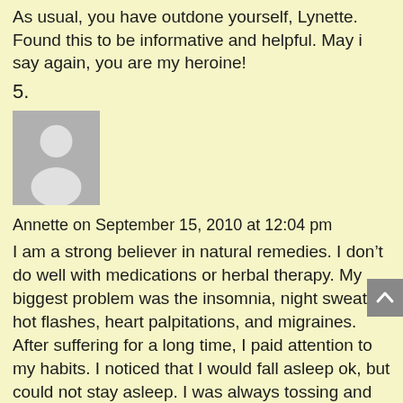As usual, you have outdone yourself, Lynette. Found this to be informative and helpful. May i say again, you are my heroine!
5.
[Figure (illustration): Generic user avatar placeholder — grey square with white silhouette of a person (head and shoulders)]
Annette on September 15, 2010 at 12:04 pm
I am a strong believer in natural remedies. I don't do well with medications or herbal therapy. My biggest problem was the insomnia, night sweats, hot flashes, heart palpitations, and migraines. After suffering for a long time, I paid attention to my habits. I noticed that I would fall asleep ok, but could not stay asleep. I was always tossing and turning looking for a cold spot on the bed as well as a cold pillow. My